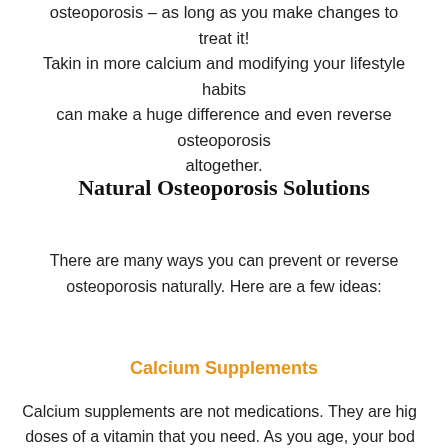osteoporosis – as long as you make changes to treat it! Takin in more calcium and modifying your lifestyle habits can make a huge difference and even reverse osteoporosis altogether.
Natural Osteoporosis Solutions
There are many ways you can prevent or reverse osteoporosis naturally. Here are a few ideas:
Calcium Supplements
Calcium supplements are not medications. They are high doses of a vitamin that you need. As you age, your body